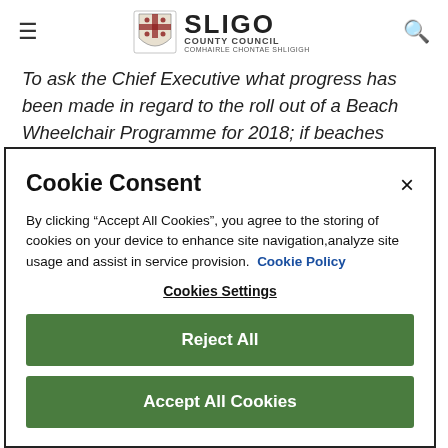[Figure (logo): Sligo County Council logo with crest, SLIGO text, COUNTY COUNCIL subtitle, and Irish language text]
To ask the Chief Executive what progress has been made in regard to the roll out of a Beach Wheelchair Programme for 2018; if beaches have
Cookie Consent
By clicking “Accept All Cookies”, you agree to the storing of cookies on your device to enhance site navigation,analyze site usage and assist in service provision.  Cookie Policy
Cookies Settings
Reject All
Accept All Cookies